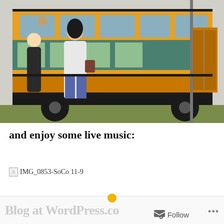[Figure (photo): A yellow school bus converted into a food truck called 'Short Bus Subs' with people standing in line outside on grass. Phone number (512) 535-SUBS visible on the side.]
and enjoy some live music:
[Figure (photo): Broken image placeholder labeled IMG_0853-SoCo 11-9]
Follow ...